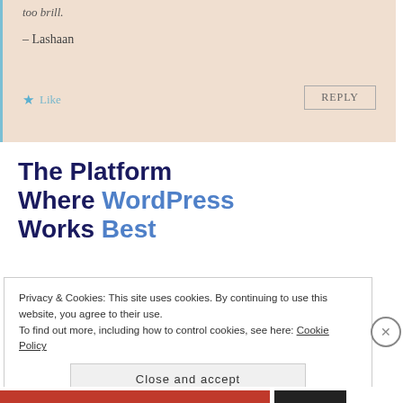too brill.
– Lashaan
★ Like
REPLY
The Platform Where WordPress Works Best
Privacy & Cookies: This site uses cookies. By continuing to use this website, you agree to their use.
To find out more, including how to control cookies, see here: Cookie Policy
Close and accept